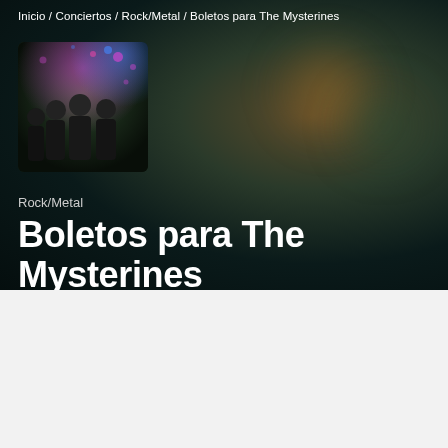Inicio / Conciertos / Rock/Metal / Boletos para The Mysterines
[Figure (photo): Band photo of The Mysterines — four young people posing against a floral/bokeh background]
Rock/Metal
Boletos para The Mysterines
EVENTOS
EVENTOS